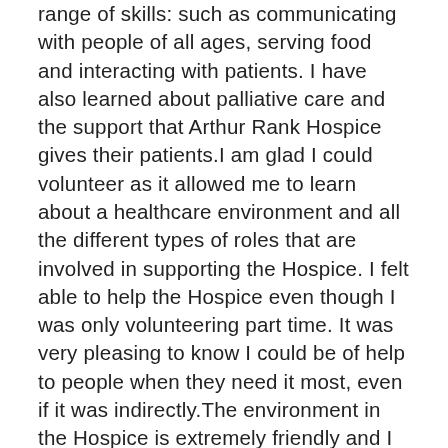range of skills: such as communicating with people of all ages, serving food and interacting with patients. I have also learned about palliative care and the support that Arthur Rank Hospice gives their patients.I am glad I could volunteer as it allowed me to learn about a healthcare environment and all the different types of roles that are involved in supporting the Hospice. I felt able to help the Hospice even though I was only volunteering part time. It was very pleasing to know I could be of help to people when they need it most, even if it was indirectly.The environment in the Hospice is extremely friendly and I enjoyed getting to meet and interact with volunteers, health care assistants and nurses. I was pleased to see how everyone tries to make the atmosphere very positive.I hope that for the rest of the time I volunteer, I will be able to make the most of the